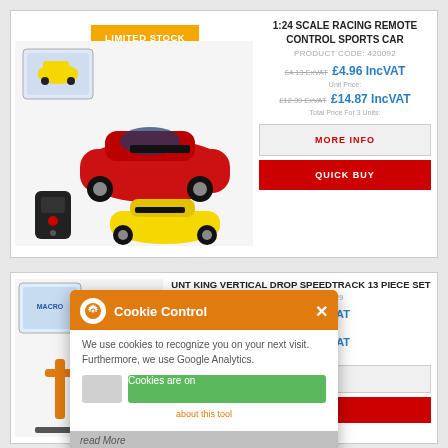[Figure (photo): Product listing card for 1:24 Scale Racing Remote Control Sports Car with LIMITED STOCK badge, image of red and yellow RC cars with remote, price and buy buttons]
1:24 SCALE RACING REMOTE CONTROL SPORTS CAR
PRODUCT CODE: 420092
£4.13 ExVAT  £4.96 IncVAT  Unit Price:
£12.39 ExVAT  £14.87 IncVAT  Total Price For 3 Units:
MORE INFO
QUICK BUY
[Figure (photo): Product listing card for Stunt King Vertical Drop Speedtrack 13 Piece Set, partially obscured by cookie consent overlay]
UNT KING VERTICAL DROP SPEEDTRACK 13 PIECE SET
RODUCT CODE: 420129
0 ExVAT  £4.68 IncVAT  Unit Price:
ExVAT  £14.04 IncVAT  al Price For 3 Units:
MORE INFO
QUICK BUY
Cookie Control
We use cookies to recognize you on your next visit. Furthermore, we use Google Analytics.
Cookies are on
about this tool
read More